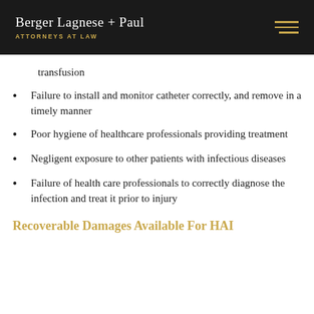Berger Lagnese + Paul ATTORNEYS AT LAW
transfusion
Failure to install and monitor catheter correctly, and remove in a timely manner
Poor hygiene of healthcare professionals providing treatment
Negligent exposure to other patients with infectious diseases
Failure of health care professionals to correctly diagnose the infection and treat it prior to injury
Recoverable Damages Available For HAI